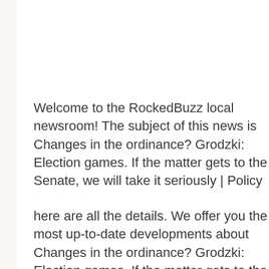Welcome to the RockedBuzz local newsroom! The subject of this news is Changes in the ordinance? Grodzki: Election games. If the matter gets to the Senate, we will take it seriously | Policy
here are all the details. We offer you the most up-to-date developments about Changes in the ordinance? Grodzki: Election games. If the matter gets to the Senate, we will take it seriously | Policy